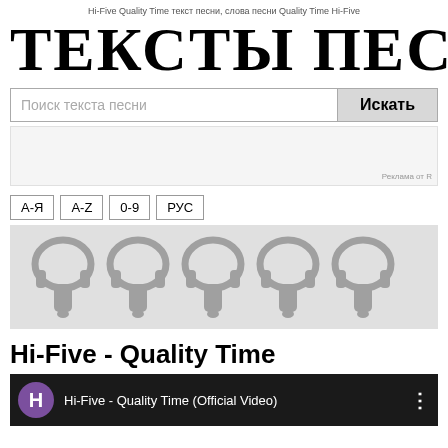Hi-Five Quality Time текст песни, слова песни Quality Time Hi-Five
ТЕКСТЫ ПЕСЕН
Поиск текста песни
[Figure (other): Advertisement block with 'Реклама от R' label]
А-Я
A-Z
0-9
РУС
[Figure (illustration): Row of 5 grey headphone+microphone icons on a light grey background]
Hi-Five - Quality Time
[Figure (screenshot): YouTube video thumbnail showing Hi-Five - Quality Time (Official Video) with purple H avatar icon]